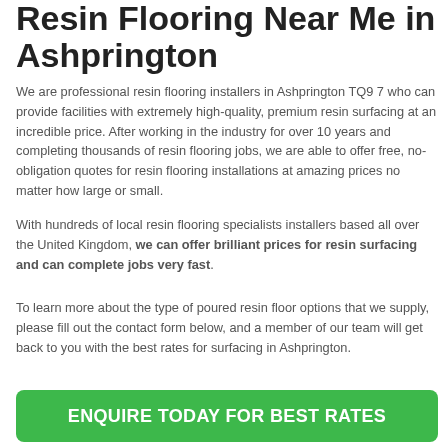Resin Flooring Near Me in Ashprington
We are professional resin flooring installers in Ashprington TQ9 7 who can provide facilities with extremely high-quality, premium resin surfacing at an incredible price. After working in the industry for over 10 years and completing thousands of resin flooring jobs, we are able to offer free, no-obligation quotes for resin flooring installations at amazing prices no matter how large or small.
With hundreds of local resin flooring specialists installers based all over the United Kingdom, we can offer brilliant prices for resin surfacing and can complete jobs very fast.
To learn more about the type of poured resin floor options that we supply, please fill out the contact form below, and a member of our team will get back to you with the best rates for surfacing in Ashprington.
ENQUIRE TODAY FOR BEST RATES